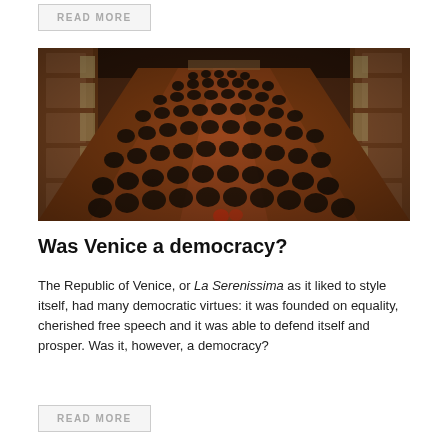READ MORE
[Figure (photo): Historical painting showing a grand hall filled with rows of seated figures in dark robes, viewed from above in perspective, with wooden paneling on the walls and balconies along the sides — likely depicting the Venetian Great Council in session.]
Was Venice a democracy?
The Republic of Venice, or La Serenissima as it liked to style itself, had many democratic virtues: it was founded on equality, cherished free speech and it was able to defend itself and prosper. Was it, however, a democracy?
READ MORE